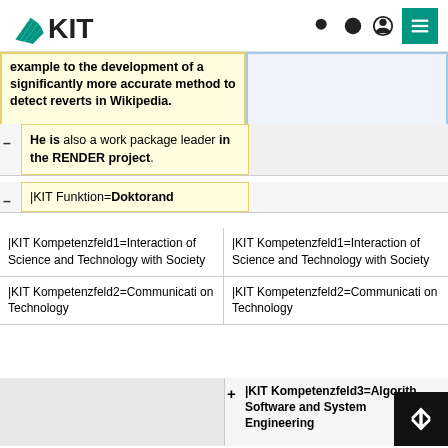[Figure (logo): KIT logo with teal fan/leaf icon and bold KIT text]
example to the development of a significantly more accurate method to detect reverts in Wikipedia.
He is also a work package leader in the RENDER project.
|KIT Funktion=Doktorand
| Column 1 | Column 2 |
| --- | --- |
| |KIT Kompetenzfeld1=Interaction of Science and Technology with Society | |KIT Kompetenzfeld1=Interaction of Science and Technology with Society |
| |KIT Kompetenzfeld2=Communication Technology | |KIT Kompetenzfeld2=Communication Technology |
|  | + |KIT Kompetenzfeld3=Algorithms, Software and System Engineering |